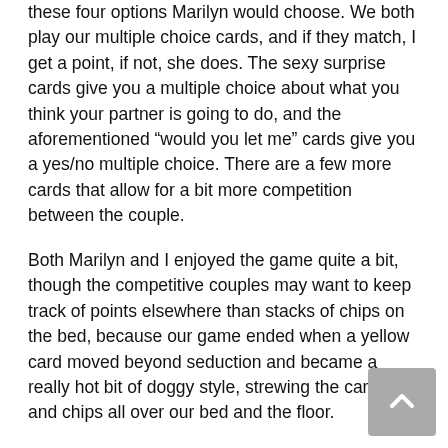these four options Marilyn would choose. We both play our multiple choice cards, and if they match, I get a point, if not, she does. The sexy surprise cards give you a multiple choice about what you think your partner is going to do, and the aforementioned “would you let me” cards give you a yes/no multiple choice. There are a few more cards that allow for a bit more competition between the couple.
Both Marilyn and I enjoyed the game quite a bit, though the competitive couples may want to keep track of points elsewhere than stacks of chips on the bed, because our game ended when a yellow card moved beyond seduction and became a really hot bit of doggy style, strewing the cards and chips all over our bed and the floor.